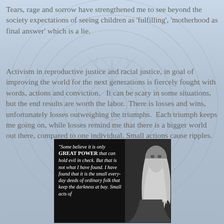Tears, rage and sorrow have strengthened me to see beyond the society expectations of seeing children as 'fulfilling', 'motherhood as final answer' which is a lie.
Activism in reproductive justice and racial justice, in goal of improving the world for the next generations is fiercely fought with words, actions and conviction.   It can be scary in some situations, but the end results are worth the labor.  There is losses and wins, unfortunately losses outweighing the triumphs.  Each triumph keeps me going on, while losses remind me that there is a bigger world out there, compared to one individual. Small actions cause ripples.
[Figure (photo): Black and white photo of a wizard-like elderly man with long white hair and beard (resembling Gandalf), with overlaid white italic text quote: "Some believe it is only GREAT POWER that can hold evil in check. But that is not what I have found. I have found that it is the small every-day deeds of ordinary folk that keep the dark-ness at bay. Small acts of"]